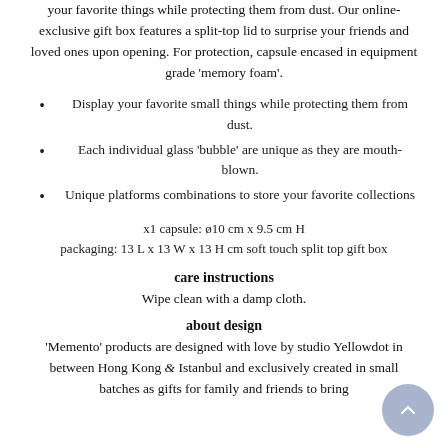your favorite things while protecting them from dust. Our online-exclusive gift box features a split-top lid to surprise your friends and loved ones upon opening. For protection, capsule encased in equipment grade 'memory foam'.
Display your favorite small things while protecting them from dust.
Each individual glass 'bubble' are unique as they are mouth-blown.
Unique platforms combinations to store your favorite collections
x1 capsule: ø10 cm x 9.5 cm H
packaging: 13 L x 13 W x 13 H cm soft touch split top gift box
care instructions
Wipe clean with a damp cloth.
about design
'Memento' products are designed with love by studio Yellowdot in between Hong Kong & Istanbul and exclusively created in small batches as gifts for family and friends to bring